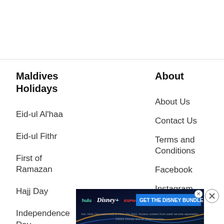Maldives Holidays
Eid-ul Al'haa
Eid-ul Fithr
First of Ramazan
Hajj Day
Independence Day
Labour
National Day
About
About Us
Contact Us
Terms and Conditions
Facebook
Instagram
Twitter
[Figure (infographic): Disney Bundle advertisement banner showing Hulu, Disney+, ESPN+ logos with 'GET THE DISNEY BUNDLE' call to action and fine print about subscription terms.]